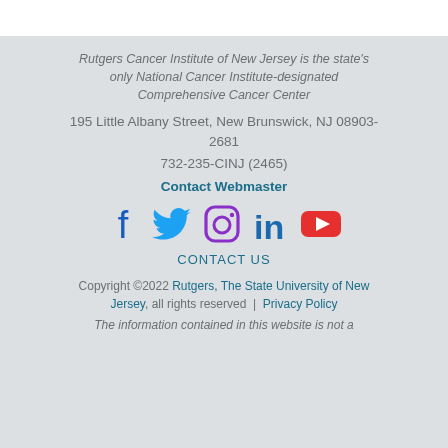Rutgers Cancer Institute of New Jersey is the state's only National Cancer Institute-designated Comprehensive Cancer Center
195 Little Albany Street, New Brunswick, NJ 08903-2681
732-235-CINJ (2465)
Contact Webmaster
[Figure (infographic): Social media icons: Facebook, Twitter, Instagram, LinkedIn, YouTube]
CONTACT US
Copyright ©2022 Rutgers, The State University of New Jersey, all rights reserved | Privacy Policy
The information contained in this website is not a